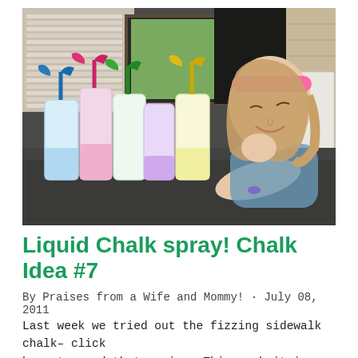[Figure (photo): A young girl with a pink headband leaning on her elbow, smiling at several spray bottles filled with colorful liquid chalk (blue, pink, purple, yellow, with colored spray nozzles) on a dark table surface outdoors.]
Liquid Chalk spray! Chalk Idea #7
By Praises from a Wife and Mommy! · July 08, 2011
Last week we tried out the fizzing sidewalk chalk– click here to read that review. This week it is liquid chalk spray.